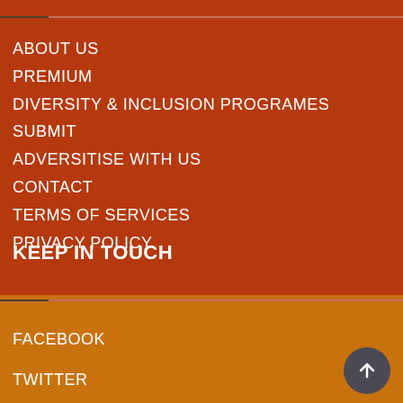ABOUT US
PREMIUM
DIVERSITY & INCLUSION PROGRAMES
SUBMIT
ADVERSITISE WITH US
CONTACT
TERMS OF SERVICES
PRIVACY POLICY
KEEP IN TOUCH
FACEBOOK
TWITTER